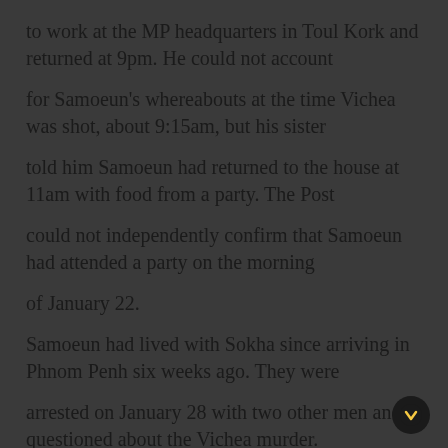to work at the MP headquarters in Toul Kork and returned at 9pm. He could not account
for Samoeun's whereabouts at the time Vichea was shot, about 9:15am, but his sister
told him Samoeun had returned to the house at 11am with food from a party. The Post
could not independently confirm that Samoeun had attended a party on the morning
of January 22.
Samoeun had lived with Sokha since arriving in Phnom Penh six weeks ago. They were
arrested on January 28 with two other men and questioned about the Vichea murder.
Speaking soon after Sokha's arrest on Feburuary 11, Suong Sopul said his son had
been also arrested in 2003 for "doing some illegal business".
Police say Samoeun, 36, and Bourn Samnang, 23, are responsible for the January 22...